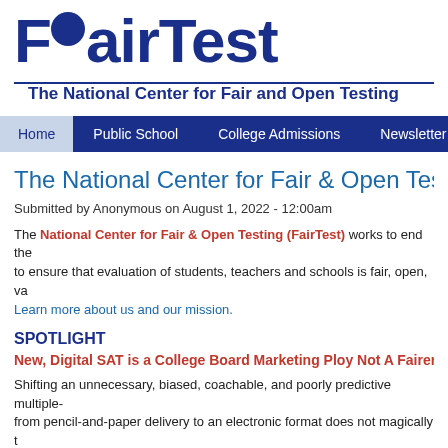[Figure (logo): FairTest logo - large bold blue text]
The National Center for Fair and Open Testing
Home | Public School | College Admissions | Newsletter
The National Center for Fair & Open Testing
Submitted by Anonymous on August 1, 2022 - 12:00am
The National Center for Fair & Open Testing (FairTest) works to end the use of standardized tests to ensure that evaluation of students, teachers and schools is fair, open, va... Learn more about us and our mission.
SPOTLIGHT
New, Digital SAT is a College Board Marketing Ploy Not A Fairer, B...
Shifting an unnecessary, biased, coachable, and poorly predictive multiple-choice test from pencil-and-paper delivery to an electronic format does not magically transform it into a useful tool for assessing college readiness. Just as with previous versions of the SAT, going digital does not improve its overall value.